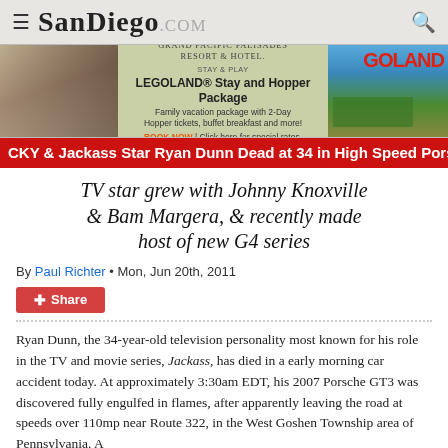SanDiego.com
[Figure (infographic): Advertisement banner for Grand Pacific Palisades Resort & Hotel featuring LEGOLAND Stay and Hopper Package promotion]
CKY & Jackass Star Ryan Dunn Dead at 34 in High Speed Porsche C
TV star grew with Johnny Knoxville & Bam Margera, & recently made host of new G4 series
By Paul Richter • Mon, Jun 20th, 2011
Share
Ryan Dunn, the 34-year-old television personality most known for his role in the TV and movie series, Jackass, has died in a early morning car accident today. At approximately 3:30am EDT, his 2007 Porsche GT3 was discovered fully engulfed in flames, after apparently leaving the road at speeds over 110mp near Route 322, in the West Goshen Township area of Pennsylvania. A